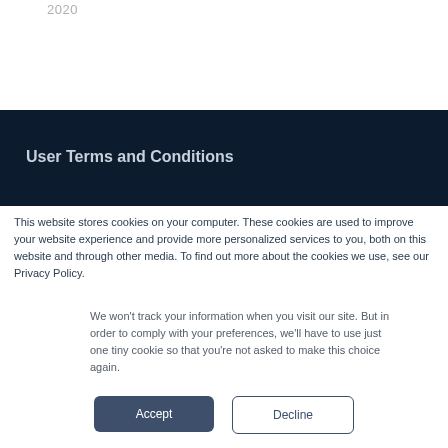2020
User Terms and Conditions
This website stores cookies on your computer. These cookies are used to improve your website experience and provide more personalized services to you, both on this website and through other media. To find out more about the cookies we use, see our Privacy Policy.
We won't track your information when you visit our site. But in order to comply with your preferences, we'll have to use just one tiny cookie so that you're not asked to make this choice again.
Accept
Decline